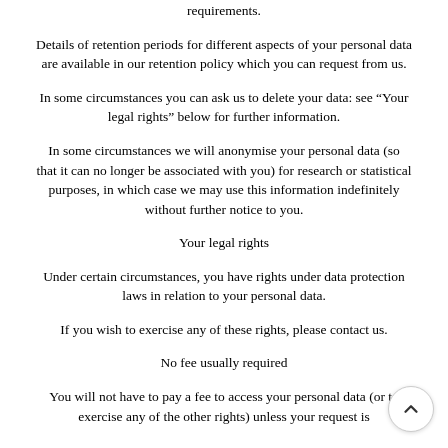and whether we can achieve those purposes through other means, and the applicable legal, regulatory, tax, accounting or other requirements.
Details of retention periods for different aspects of your personal data are available in our retention policy which you can request from us.
In some circumstances you can ask us to delete your data: see “Your legal rights” below for further information.
In some circumstances we will anonymise your personal data (so that it can no longer be associated with you) for research or statistical purposes, in which case we may use this information indefinitely without further notice to you.
Your legal rights
Under certain circumstances, you have rights under data protection laws in relation to your personal data.
If you wish to exercise any of these rights, please contact us.
No fee usually required
You will not have to pay a fee to access your personal data (or to exercise any of the other rights) unless your request is...